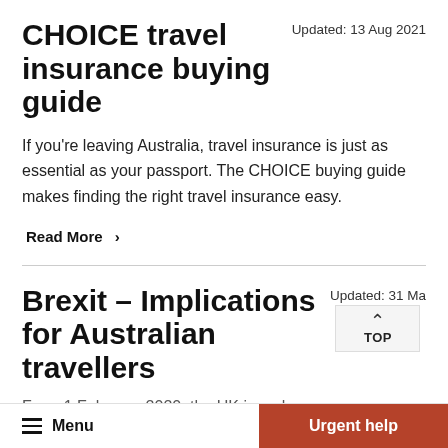CHOICE travel insurance buying guide
Updated: 13 Aug 2021
If you're leaving Australia, travel insurance is just as essential as your passport. The CHOICE buying guide makes finding the right travel insurance easy.
Read More  >
Brexit – Implications for Australian travellers
Updated: 31 Ma
From 1 February 2020, the UK is no longer...